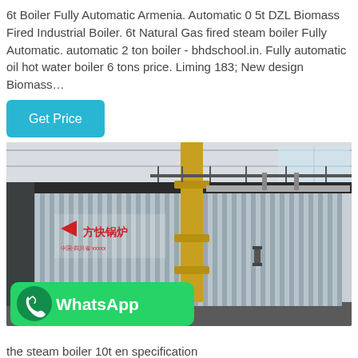6t Boiler Fully Automatic Armenia. Automatic 0 5t DZL Biomass Fired Industrial Boiler. 6t Natural Gas fired steam boiler Fully Automatic. automatic 2 ton boiler - bhdschool.in. Fully automatic oil hot water boiler 6 tons price. Liming 183; New design Biomass...
[Figure (photo): Photo of a large industrial boiler with corrugated metal casing and yellow gas piping. A Chinese manufacturer logo (方快锅炉) is visible on the front panel. The boiler is inside an industrial building.]
the steam boiler 10t en specification